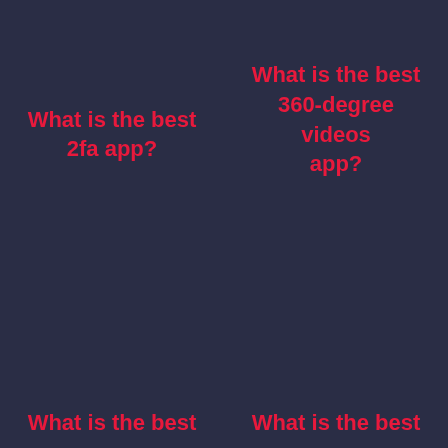What is the best 2fa app?
What is the best 360-degree videos app?
What is the best
What is the best